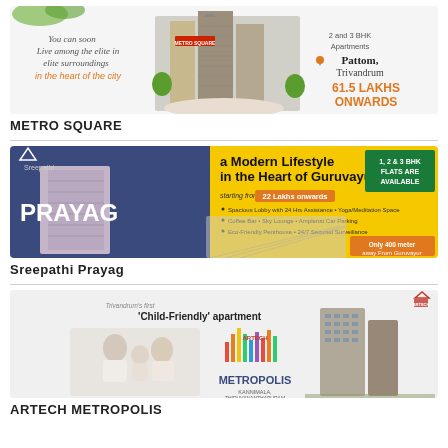[Figure (illustration): Metro Square real estate advertisement banner showing apartment building with text 'You can soon Live among the elite in elite surroundings in the heart of the city', '2 and 3 BHK Apartments', 'Pattom, Trivandrum', '61.5 LAKHS ONWARDS']
METRO SQUARE
[Figure (illustration): Sreepathi Prayag real estate advertisement banner with yellow background showing apartment building and text 'a Modern Lifestyle in the Heart of Guruvayur', '1, 2 & 3 BHK FLATS ARE AVAILABLE', 'starting from 22 Lakhs onwards', amenities listed, 'Only 400 meter away From Guruvayur']
Sreepathi Prayag
[Figure (illustration): Artech Metropolis real estate advertisement banner showing family photo, METROPOLIS logo, apartment tower buildings and text 'Trivandrum's first Child-Friendly apartment']
ARTECH METROPOLIS